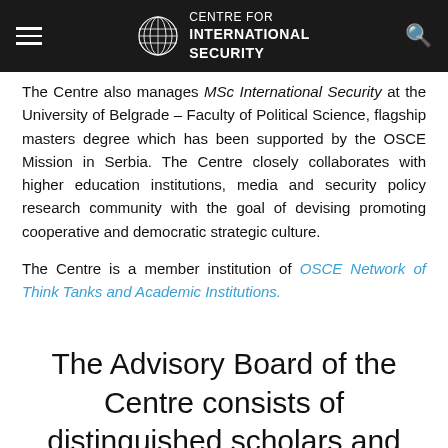CENTRE FOR INTERNATIONAL SECURITY
The Centre also manages MSc International Security at the University of Belgrade – Faculty of Political Science, flagship masters degree which has been supported by the OSCE Mission in Serbia. The Centre closely collaborates with higher education institutions, media and security policy research community with the goal of devising promoting cooperative and democratic strategic culture.

The Centre is a member institution of OSCE Network of Think Tanks and Academic Institutions.
The Advisory Board of the Centre consists of distinguished scholars and practitioners in the field of regional security: